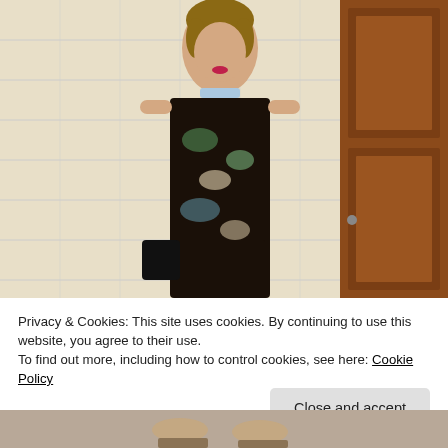[Figure (photo): A woman wearing a dark floral dress with a statement necklace, standing in front of a beige tiled wall and a wooden door, holding a black bag.]
Privacy & Cookies: This site uses cookies. By continuing to use this website, you agree to their use.
To find out more, including how to control cookies, see here: Cookie Policy
Close and accept
[Figure (photo): Bottom portion of a person wearing sandals, partially visible at the bottom of the page.]